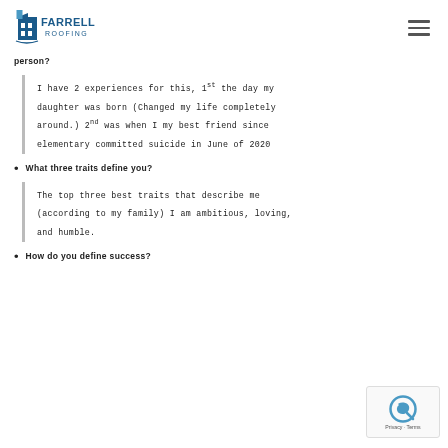Farrell Roofing
person?
I have 2 experiences for this, 1st the day my daughter was born (Changed my life completely around.) 2nd was when I my best friend since elementary committed suicide in June of 2020
What three traits define you?
The top three best traits that describe me (according to my family) I am ambitious, loving, and humble.
How do you define success?